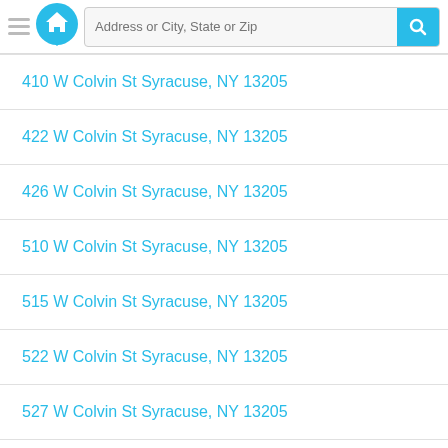[Figure (screenshot): App header with hamburger menu, home logo icon, address search bar with placeholder text 'Address or City, State or Zip', and a cyan search button with magnifying glass icon]
410 W Colvin St Syracuse, NY 13205
422 W Colvin St Syracuse, NY 13205
426 W Colvin St Syracuse, NY 13205
510 W Colvin St Syracuse, NY 13205
515 W Colvin St Syracuse, NY 13205
522 W Colvin St Syracuse, NY 13205
527 W Colvin St Syracuse, NY 13205
531 W Colvin St Syracuse, NY 13205